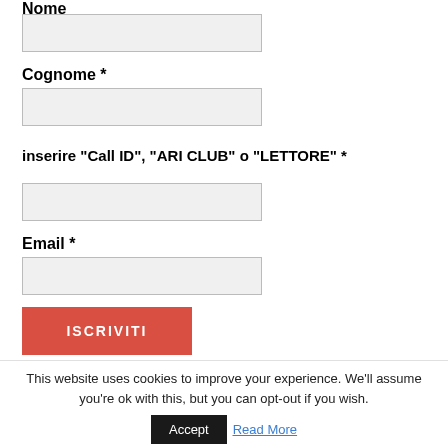Nome
Cognome *
inserire "Call ID", "ARI CLUB" o "LETTORE" *
Email *
ISCRIVITI
This website uses cookies to improve your experience. We'll assume you're ok with this, but you can opt-out if you wish.
Accept
Read More